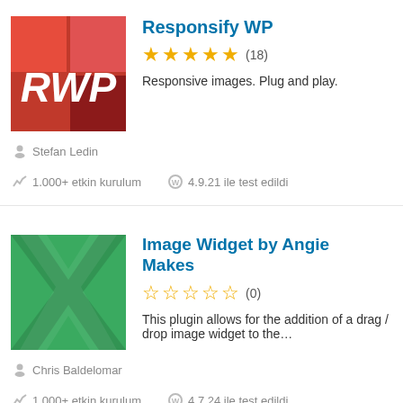[Figure (logo): Responsify WP plugin logo: red background with RWP text in white italic, darker red square overlays]
Responsify WP
★★★★★ (18)
Responsive images. Plug and play.
Stefan Ledin
1.000+ etkin kurulum
4.9.21 ile test edildi
[Figure (logo): Image Widget by Angie Makes plugin logo: green background with overlapping X/chevron pattern]
Image Widget by Angie Makes
☆☆☆☆☆ (0)
This plugin allows for the addition of a drag / drop image widget to the…
Chris Baldelomar
1.000+ etkin kurulum
4.7.24 ile test edildi